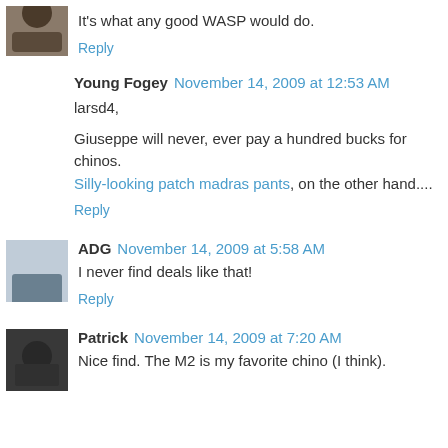It's what any good WASP would do.
Reply
Young Fogey  November 14, 2009 at 12:53 AM
larsd4,
Giuseppe will never, ever pay a hundred bucks for chinos. Silly-looking patch madras pants, on the other hand....
Reply
ADG  November 14, 2009 at 5:58 AM
I never find deals like that!
Reply
Patrick  November 14, 2009 at 7:20 AM
Nice find. The M2 is my favorite chino (I think).